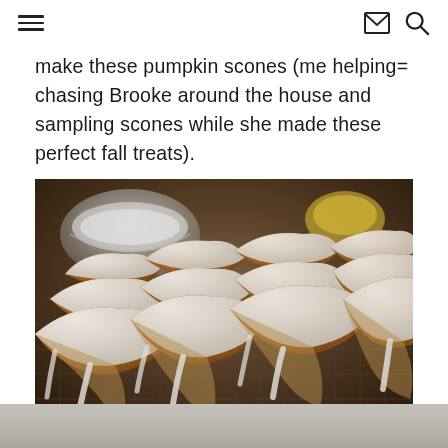navigation bar with hamburger menu, envelope/mail icon, and search icon
make these pumpkin scones (me helping= chasing Brooke around the house and sampling scones while she made these perfect fall treats).
[Figure (photo): Close-up photo of glazed pumpkin scones with white icing/glaze on a cooling rack, with a glass bowl of glaze visible in the background upper left.]